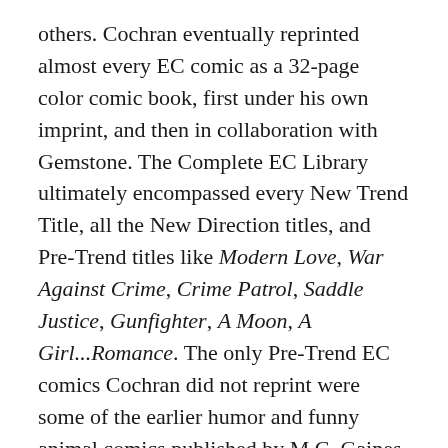others. Cochran eventually reprinted almost every EC comic as a 32-page color comic book, first under his own imprint, and then in collaboration with Gemstone. The Complete EC Library ultimately encompassed every New Trend Title, all the New Direction titles, and Pre-Trend titles like Modern Love, War Against Crime, Crime Patrol, Saddle Justice, Gunfighter, A Moon, A Girl...Romance. The only Pre-Trend EC comics Cochran did not reprint were some of the earlier humor and funny animal comics published by M.C. Gaines, and Moon Girl, EC's only superhero title, which has subsequently been reprinted by another publisher.
One of Cochran's most important contributions to EC scholarship was his reprinting of the Picto-Fiction magazines, including 16 unpublished stories and several covers. His Picto-Fiction reprints included